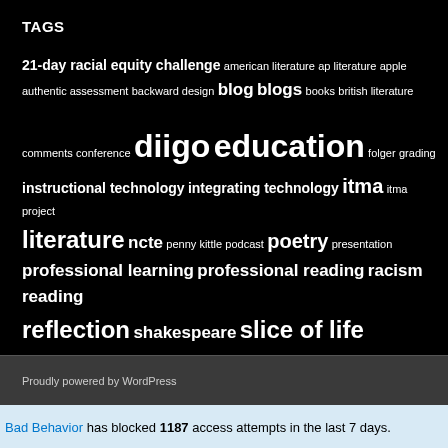TAGS
[Figure (infographic): Tag cloud with words of varying sizes representing blog tags on a black background. Larger words: reflection, diigo, education, slice of life, teaching, writing, reading, professional learning, professional reading, literature. Medium: ubd, poetry, ncte, itma, racism, shakespeare, understanding by design. Smaller: 21-day racial equity challenge, american literature, ap literature, apple, authentic assessment, backward design, blog, blogs, books, british literature, comments, conference, folger, grading, instructional technology, integrating technology, itma project, penny kittle, podcast, presentation, technology integration, twitter, ubdeducators, using technology, virginia tech, wordpress, write beside them, writing workshop]
Proudly powered by WordPress
Bad Behavior has blocked 1187 access attempts in the last 7 days.